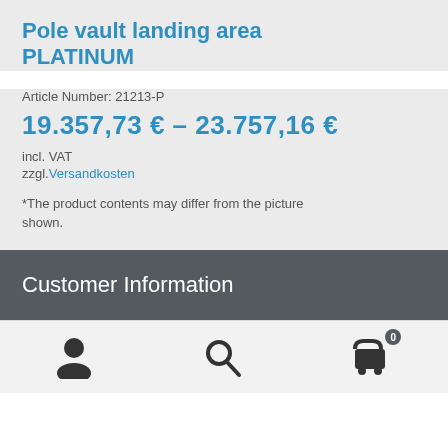Pole vault landing area PLATINUM
Article Number: 21213-P
19.357,73 € – 23.757,16 €
incl. VAT
zzgl. Versandkosten
*The product contents may differ from the picture shown.
Customer Information
[Figure (illustration): Bottom navigation bar with user account icon, search icon, and cart icon with badge showing 0]